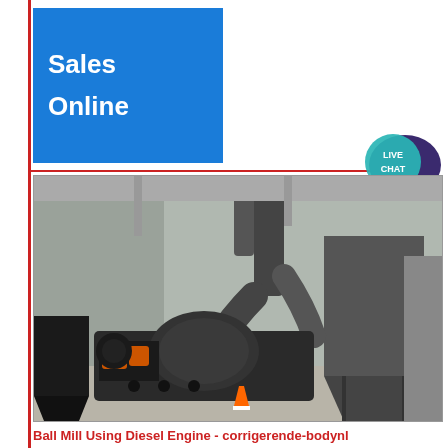Sales Online
[Figure (logo): Live Chat speech bubble icon with teal/dark blue colors and text LIVE CHAT]
[Figure (photo): Industrial ball mill machinery with diesel engine in a large factory/warehouse setting. Black heavy machinery with orange accents, large pipes and dust collector system visible in background.]
Ball Mill Using Diesel Engine - corrigerende-bodynl